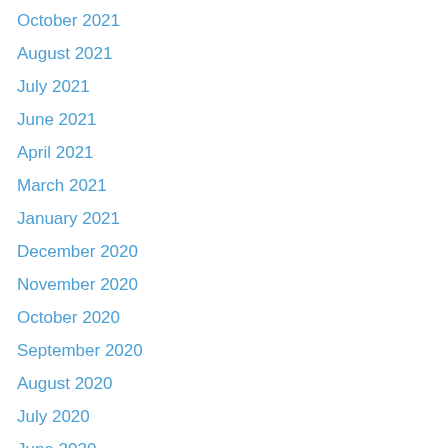October 2021
August 2021
July 2021
June 2021
April 2021
March 2021
January 2021
December 2020
November 2020
October 2020
September 2020
August 2020
July 2020
June 2020
May 2020
April 2020
March 2020
February 2020
January 2020
December 2019